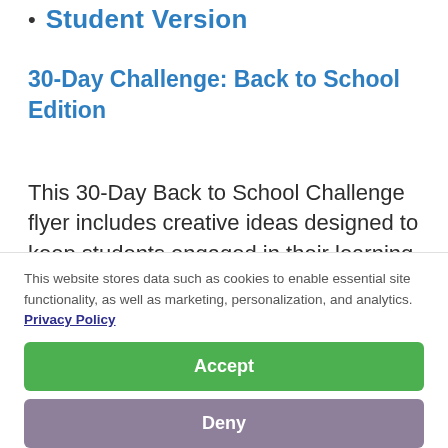Student Version
30-Day Challenge: Back to School Edition
This 30-Day Back to School Challenge flyer includes creative ideas designed to keep students engaged in their learning after summer break. With 30 days' worth
This website stores data such as cookies to enable essential site functionality, as well as marketing, personalization, and analytics. Privacy Policy
Accept
Deny